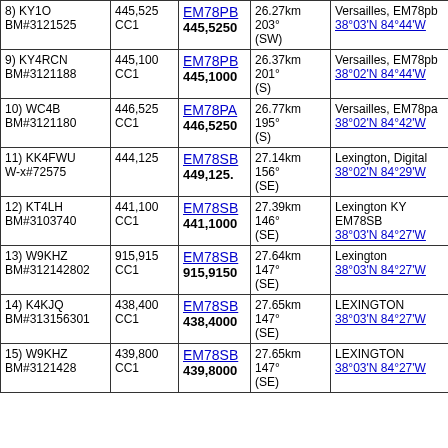| Callsign/BM# | Freq/CC | Grid | Distance/Dir | Location/Coords |
| --- | --- | --- | --- | --- |
| 8) KY1O
BM#3121525 | 445,525
CC1 | EM78PB
445,5250 | 26.27km 203° (SW) | Versailles, EM78pb
38°03'N 84°44'W |
| 9) KY4RCN
BM#3121188 | 445,100
CC1 | EM78PB
445,1000 | 26.37km 201° (S) | Versailles, EM78pb
38°02'N 84°44'W |
| 10) WC4B
BM#3121180 | 446,525
CC1 | EM78PA
446,5250 | 26.77km 195° (S) | Versailles, EM78pa
38°02'N 84°42'W |
| 11) KK4FWU
W-x#72575 | 444,125 | EM78SB
449,125. | 27.14km 156° (SE) | Lexington, Digital
38°02'N 84°29'W |
| 12) KT4LH
BM#3103740 | 441,100
CC1 | EM78SB
441,1000 | 27.39km 146° (SE) | Lexington KY
EM78SB
38°03'N 84°27'W |
| 13) W9KHZ
BM#312142802 | 915,915
CC1 | EM78SB
915,9150 | 27.64km 147° (SE) | Lexington
38°03'N 84°27'W |
| 14) K4KJQ
BM#313156301 | 438,400
CC1 | EM78SB
438,4000 | 27.65km 147° (SE) | LEXINGTON
38°03'N 84°27'W |
| 15) W9KHZ
BM#3121428 | 439,800
CC1 | EM78SB
439,8000 | 27.65km 147° (SE) | LEXINGTON
38°03'N 84°27'W |